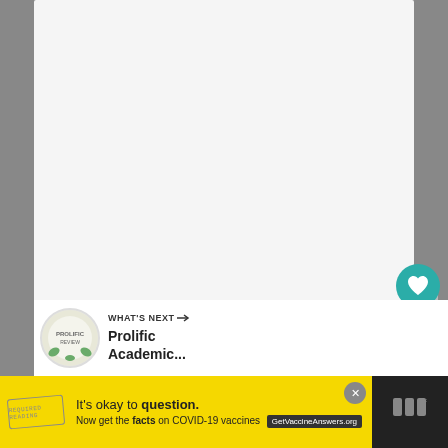[Figure (screenshot): White/light gray content card area (article body placeholder)]
[Figure (screenshot): Three vertical bar icon (menu/share indicator) in gray, top right area]
[Figure (screenshot): Teal circular heart/like button]
40
[Figure (screenshot): White circular share button with share icon and plus sign]
[Figure (screenshot): What's Next banner with Prolific Academic thumbnail and label]
WHAT'S NEXT →
Prolific Academic...
[Figure (screenshot): Yellow advertisement banner: It's okay to question. Now get the facts on COVID-19 vaccines. GetVaccineAnswers.org]